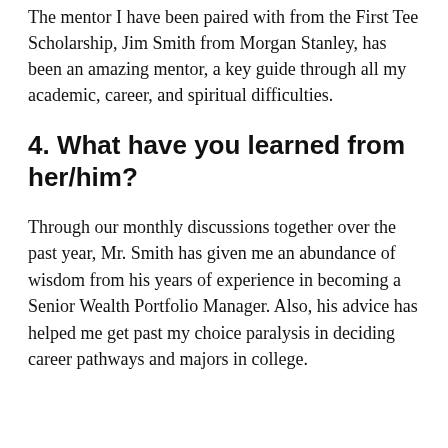The mentor I have been paired with from the First Tee Scholarship, Jim Smith from Morgan Stanley, has been an amazing mentor, a key guide through all my academic, career, and spiritual difficulties.
4. What have you learned from her/him?
Through our monthly discussions together over the past year, Mr. Smith has given me an abundance of wisdom from his years of experience in becoming a Senior Wealth Portfolio Manager. Also, his advice has helped me get past my choice paralysis in deciding career pathways and majors in college.